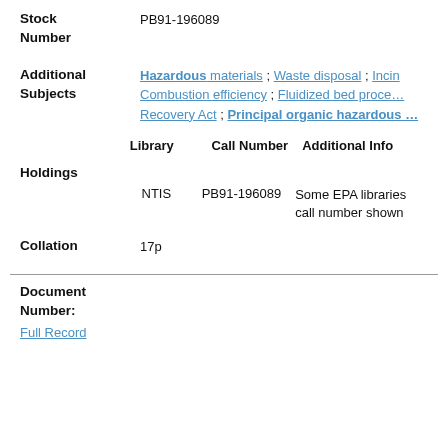Stock Number: PB91-196089
Additional Subjects: Hazardous materials ; Waste disposal ; Incin... ; Combustion efficiency ; Fluidized bed proces... ; Recovery Act ; Principal organic hazardous ...
| Library | Call Number | Additional Info |
| --- | --- | --- |
| NTIS | PB91-196089 | Some EPA libraries call number shown |
Holdings
Collation: 17p
Document Number: Full Record